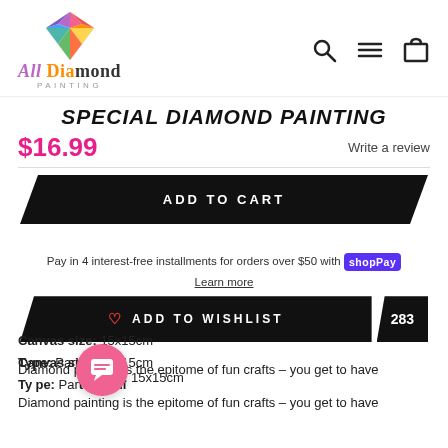[Figure (logo): All Diamond Painting logo with colorful diamond gem icon above stylized text]
SPECIAL DIAMOND PAINTING
$16.99
Write a review
ADD TO CART
Pay in 4 interest-free installments for orders over $50 with Shop Pay
Learn more
♡ ADD TO WISHLIST  283
Canvas size: 15x15cm
Type: Partial Drill
Diamond painting is the epitome of fun crafts – you get to have